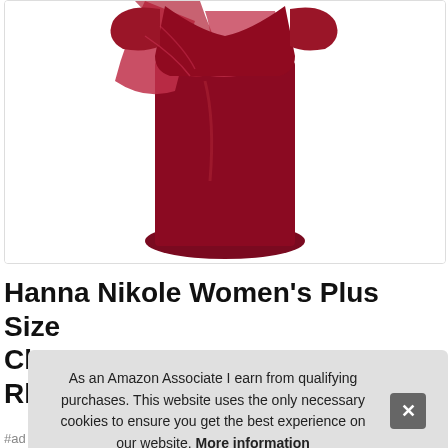[Figure (photo): A dark red/crimson women's plus size dress with chiffon drape overlay, shown against white background]
Hanna Nikole Women's Plus Size Ch... Rh...
As an Amazon Associate I earn from qualifying purchases. This website uses the only necessary cookies to ensure you get the best experience on our website. More information
#ad